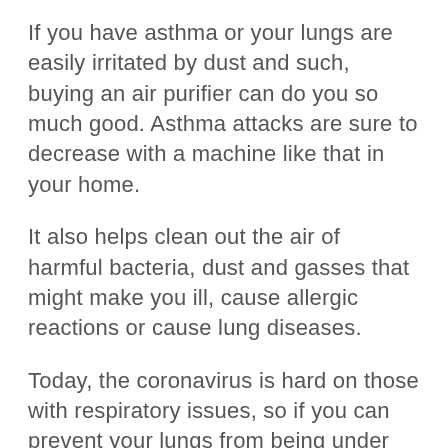If you have asthma or your lungs are easily irritated by dust and such, buying an air purifier can do you so much good. Asthma attacks are sure to decrease with a machine like that in your home.
It also helps clean out the air of harmful bacteria, dust and gasses that might make you ill, cause allergic reactions or cause lung diseases.
Today, the coronavirus is hard on those with respiratory issues, so if you can prevent your lungs from being under other pressures, you might not be